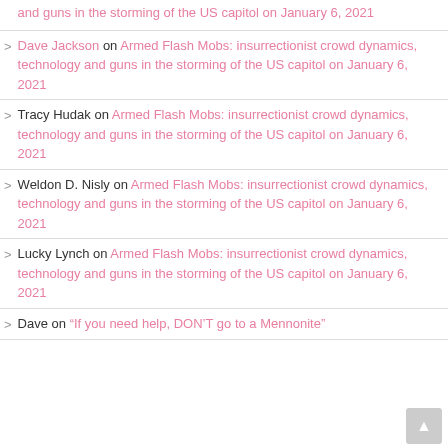and guns in the storming of the US capitol on January 6, 2021
Dave Jackson on Armed Flash Mobs: insurrectionist crowd dynamics, technology and guns in the storming of the US capitol on January 6, 2021
Tracy Hudak on Armed Flash Mobs: insurrectionist crowd dynamics, technology and guns in the storming of the US capitol on January 6, 2021
Weldon D. Nisly on Armed Flash Mobs: insurrectionist crowd dynamics, technology and guns in the storming of the US capitol on January 6, 2021
Lucky Lynch on Armed Flash Mobs: insurrectionist crowd dynamics, technology and guns in the storming of the US capitol on January 6, 2021
Dave on "If you need help, DON'T go to a Mennonite"